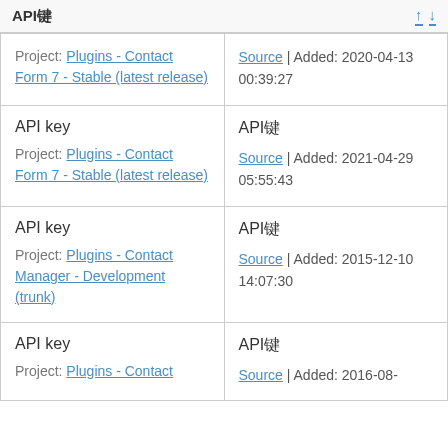API键
| Term / Project | Translation / Source |
| --- | --- |
| Project: Plugins - Contact Form 7 - Stable (latest release) | Source | Added: 2020-04-13 00:39:27 |
| API key
Project: Plugins - Contact Form 7 - Stable (latest release) | API键
Source | Added: 2021-04-29 05:55:43 |
| API key
Project: Plugins - Contact Manager - Development (trunk) | API键
Source | Added: 2015-12-10 14:07:30 |
| API key
Project: Plugins - Contact | API键
Source | Added: 2016-08- |